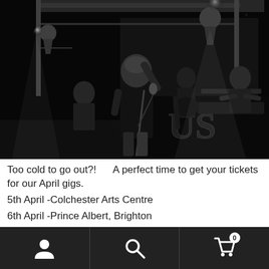[Figure (photo): Black and white concert photo of a band performing on stage. A bald male singer is holding a microphone in the center front, with band members playing guitar and keyboard in the background. Stage lighting visible overhead. A speaker with 'US' logo visible in the foreground.]
Too cold to go out?!    A perfect time to get your tickets for our April gigs.
5th April -Colchester Arts Centre
6th April -Prince Albert, Brighton
[Figure (other): Bottom navigation bar with person/account icon, search/magnifying glass icon, and shopping cart icon with badge showing 0]